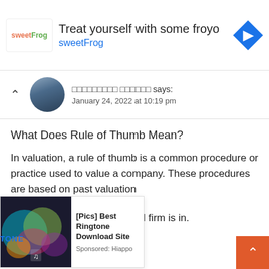[Figure (other): Advertisement banner for sweetFrog frozen yogurt. Shows sweetFrog logo, text 'Treat yourself with some froyo' and 'sweetFrog', and a blue navigation arrow icon.]
□□□□□□□□□ □□□□□□ says:
January 24, 2022 at 10:19 pm
What Does Rule of Thumb Mean?
In valuation, a rule of thumb is a common procedure or practice used to value a company. These procedures are based on past valuation
[Figure (other): Advertisement overlay for '[Pics] Best Ringtone Download Site', Sponsored: Hiappo, with colorful image on the left.]
whichever industry the valued firm is in.
-Gluglu